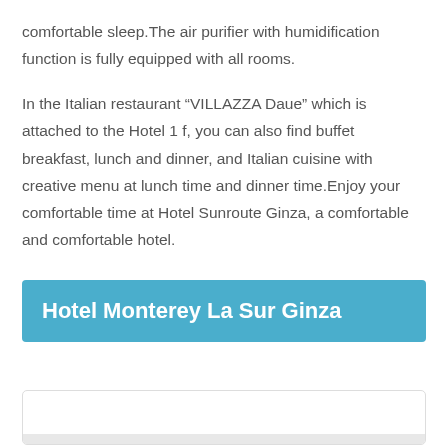comfortable sleep.The air purifier with humidification function is fully equipped with all rooms.
In the Italian restaurant “VILLAZZA Daue” which is attached to the Hotel 1 f, you can also find buffet breakfast, lunch and dinner, and Italian cuisine with creative menu at lunch time and dinner time.Enjoy your comfortable time at Hotel Sunroute Ginza, a comfortable and comfortable hotel.
Hotel Monterey La Sur Ginza